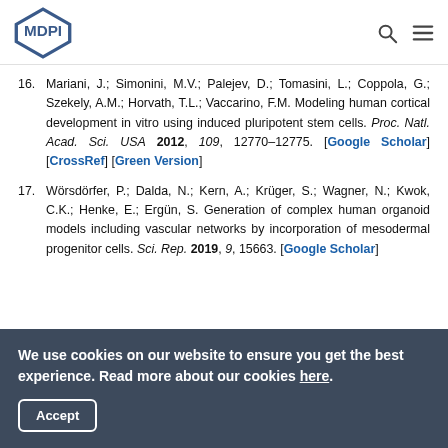MDPI
16. Mariani, J.; Simonini, M.V.; Palejev, D.; Tomasini, L.; Coppola, G.; Szekely, A.M.; Horvath, T.L.; Vaccarino, F.M. Modeling human cortical development in vitro using induced pluripotent stem cells. Proc. Natl. Acad. Sci. USA 2012, 109, 12770–12775. [Google Scholar] [CrossRef] [Green Version]
17. Wörsdörfer, P.; Dalda, N.; Kern, A.; Krüger, S.; Wagner, N.; Kwok, C.K.; Henke, E.; Ergün, S. Generation of complex human organoid models including vascular networks by incorporation of mesodermal progenitor cells. Sci. Rep. 2019, 9, 15663. [Google Scholar]
We use cookies on our website to ensure you get the best experience. Read more about our cookies here.
Accept